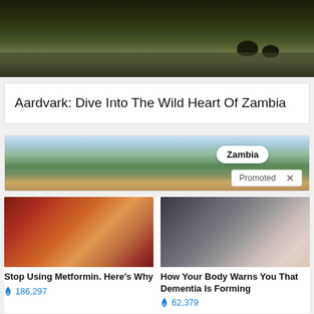[Figure (photo): Landscape photo of elephants near a river in Zambia, with dark sky and water reflections]
Aardvark: Dive Into The Wild Heart Of Zambia
[Figure (photo): Promotional banner image of Zambia savanna landscape with trees and blue sky, with 'Zambia' badge and 'Promoted x' label]
[Figure (photo): Close-up medical image of internal organs (intestines), related to Metformin article]
Stop Using Metformin. Here's Why
186,297
[Figure (photo): Elderly person sitting on bed, appearing distressed, related to dementia article]
How Your Body Warns You That Dementia Is Forming
62,379